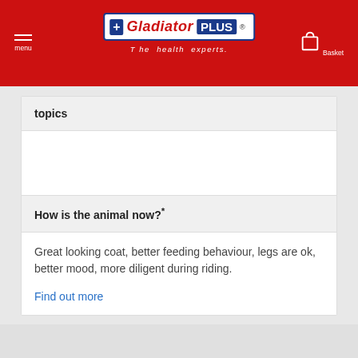Gladiator PLUS — The health experts. menu | Basket
topics
How is the animal now?*
Great looking coat, better feeding behaviour, legs are ok, better mood, more diligent during riding.
Find out more